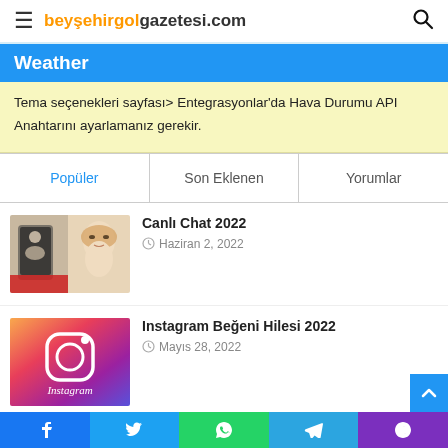beysehirgolgazetesi.com
Weather
Tema seçenekleri sayfası> Entegrasyonlar'da Hava Durumu API Anahtarını ayarlamanız gerekir.
Popüler
Son Eklenen
Yorumlar
Canlı Chat 2022
Haziran 2, 2022
Instagram Beğeni Hilesi 2022
Mayıs 28, 2022